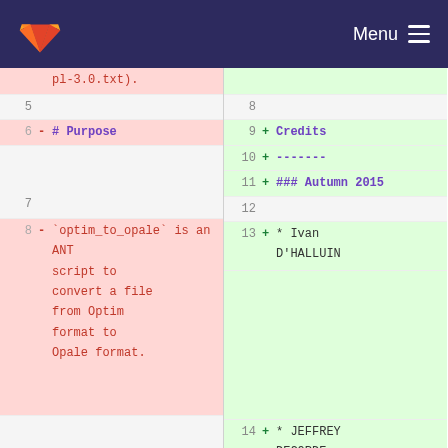GitLab  Menu
[Figure (screenshot): GitLab diff view showing two-panel code diff with line numbers, deletions on left and additions on right]
| Old Line | Old Content | New Line | New Content |
| --- | --- | --- | --- |
|  | pl-3.0.txt). |  |  |
| 5 |  | 8 |  |
| 6 | - # Purpose | 9 | + Credits |
|  |  | 10 | + ------- |
|  |  | 11 | + ### Autumn 2015 |
| 7 |  | 12 |  |
| 8 | - `optim_to_opale` is an ANT script to convert a file from Optim format to Opale format. | 13 | + * Ivan D'HALLUIN |
|  |  | 14 | + * JEFFREY DECORDE |
|  |  | 15 | + * Jean-Baptiste MARTIN |
| 9 |  | 16 |  |
| 10 | - # Dependencies | 17 | + Presentation |
|  |  | 18 | + ----------- |